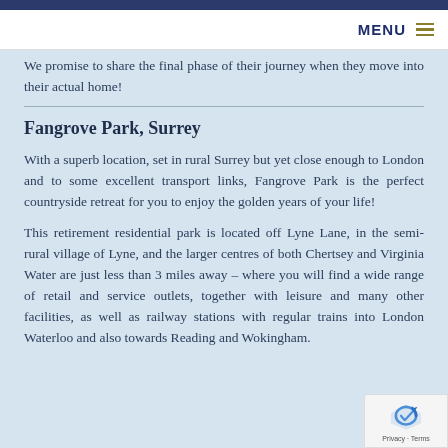MENU
We promise to share the final phase of their journey when they move into their actual home!
Fangrove Park, Surrey
With a superb location, set in rural Surrey but yet close enough to London and to some excellent transport links, Fangrove Park is the perfect countryside retreat for you to enjoy the golden years of your life!
This retirement residential park is located off Lyne Lane, in the semi-rural village of Lyne, and the larger centres of both Chertsey and Virginia Water are just less than 3 miles away – where you will find a wide range of retail and service outlets, together with leisure and many other facilities, as well as railway stations with regular trains into London Waterloo and also towards Reading and Wokingham.